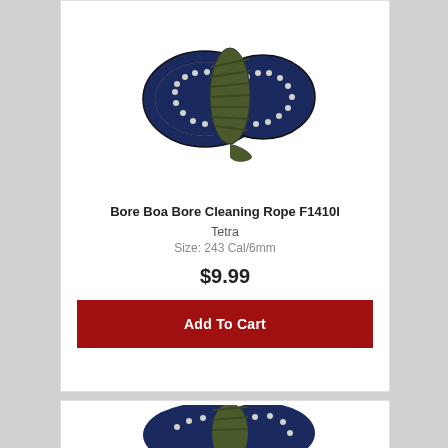[Figure (photo): A coiled bore cleaning rope with navy blue and white braided cord wrapped with a dark olive green binding, viewed from above.]
Bore Boa Bore Cleaning Rope F1410l
Tetra
Size: 243 Cal/6mm
$9.99
Add To Cart
[Figure (photo): A second partially visible coiled bore cleaning rope with navy blue and white braided cord and dark olive binding, at the bottom of the page.]